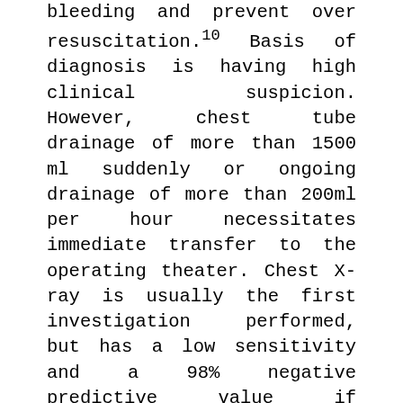bleeding and prevent over resuscitation.10 Basis of diagnosis is having high clinical suspicion. However, chest tube drainage of more than 1500 ml suddenly or ongoing drainage of more than 200ml per hour necessitates immediate transfer to the operating theater. Chest X-ray is usually the first investigation performed, but has a low sensitivity and a 98% negative predictive value if normal.11 CT scan is a helpful modality in planning operative strategies if the patient is stable, with a reported sensitivity of 97-100%.7 In our study, all the patients had an ACT scan of the Chest showing aortic abnormality (transection). Passaro and Pace12 in 1959 described the first successful primary repair of an acute traumatic thoracic aortic transection. Since that time, open surgical repair has remained the standard